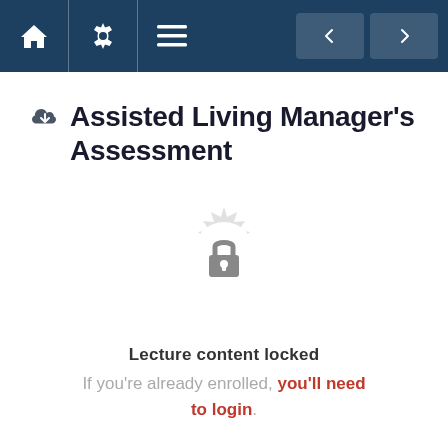Navigation bar with home, settings, menu icons and back/forward buttons
Assisted Living Manager's Assessment
[Figure (illustration): A decorative circular badge/seal icon in light gray with a padlock symbol in the center, indicating locked content.]
Lecture content locked
If you're already enrolled, you'll need to login.